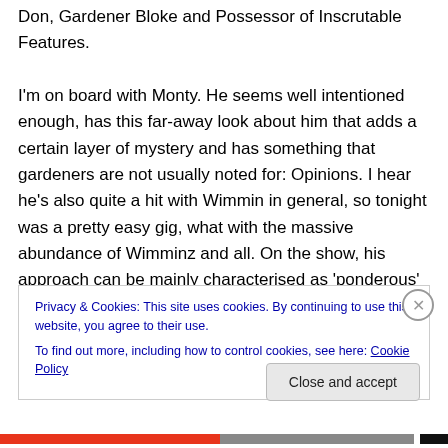Don, Gardener Bloke and Possessor of Inscrutable Features.

I'm on board with Monty. He seems well intentioned enough, has this far-away look about him that adds a certain layer of mystery and has something that gardeners are not usually noted for: Opinions. I hear he's also quite a hit with Wimmin in general, so tonight was a pretty easy gig, what with the massive abundance of Wimminz and all. On the show, his approach can be mainly characterised as 'ponderous' with the occasional spark of fire. Starting off with the Venables case he got some good clans in with a
Privacy & Cookies: This site uses cookies. By continuing to use this website, you agree to their use.
To find out more, including how to control cookies, see here: Cookie Policy
Close and accept